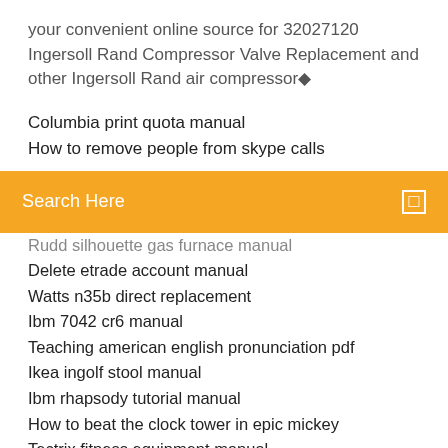your convenient online source for 32027120 Ingersoll Rand Compressor Valve Replacement and other Ingersoll Rand air compressor◆
Columbia print quota manual
How to remove people from skype calls
Search Here
Rudd silhouette gas furnace manual
Delete etrade account manual
Watts n35b direct replacement
Ibm 7042 cr6 manual
Teaching american english pronunciation pdf
Ikea ingolf stool manual
Ibm rhapsody tutorial manual
How to beat the clock tower in epic mickey
Tectrix fitness equipment manual
Quartz overhang support guidelines
How to add rests in musescore